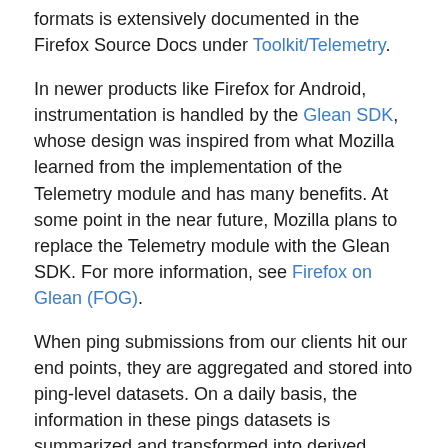formats is extensively documented in the Firefox Source Docs under Toolkit/Telemetry.
In newer products like Firefox for Android, instrumentation is handled by the Glean SDK, whose design was inspired from what Mozilla learned from the implementation of the Telemetry module and has many benefits. At some point in the near future, Mozilla plans to replace the Telemetry module with the Glean SDK. For more information, see Firefox on Glean (FOG).
When ping submissions from our clients hit our end points, they are aggregated and stored into ping-level datasets. On a daily basis, the information in these pings datasets is summarized and transformed into derived datasets which are easier to reason about and faster to query. You can learn more about this in Guiding Principles for Data Infrastructure.
Both the ping and derived datasets are viewable using